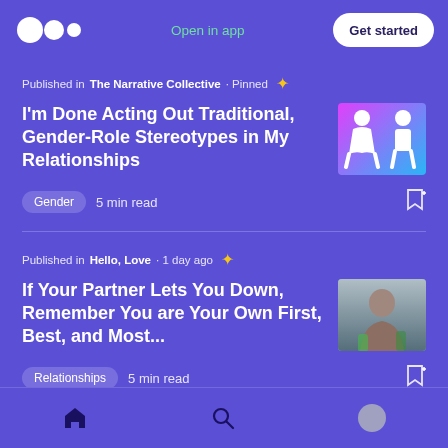Open in app  Get started
Published in The Narrative Collective · Pinned ✦
I'm Done Acting Out Traditional, Gender-Role Stereotypes in My Relationships
Gender  5 min read
Published in Hello, Love · 1 day ago ✦
If Your Partner Lets You Down, Remember You are Your Own First, Best, and Most...
Relationships  5 min read
Home  Search  Profile